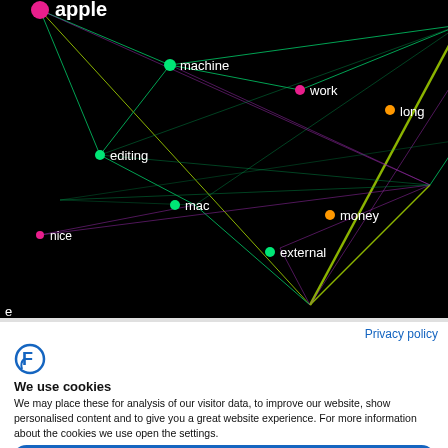[Figure (network-graph): A word network graph on black background showing interconnected word nodes (apple, machine, work, long, option, amazing, year, editing, bit, fast, gpu, nice, mac, money, battery, performance, external, pro) connected by colorful lines in green, yellow, pink, purple, orange. Nodes are colored pink, green, orange, yellow-green, purple.]
Privacy policy
[Figure (logo): Feedly-style logo: blue circular F icon]
We use cookies
We may place these for analysis of our visitor data, to improve our website, show personalised content and to give you a great website experience. For more information about the cookies we use open the settings.
Accept all
Deny
No, adjust